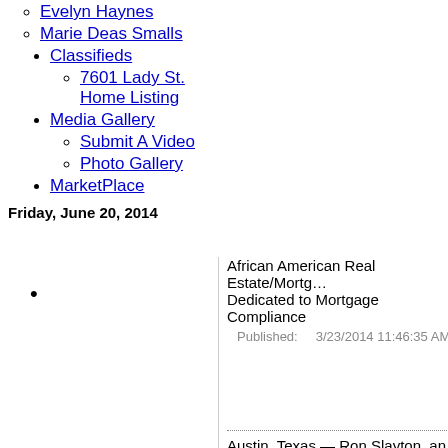Evelyn Haynes
Marie Deas Smalls
Classifieds
7601 Lady St. Home Listing
Media Gallery
Submit A Video
Photo Gallery
MarketPlace
Friday, June 20, 2014
African American Real Estate/Mortgage Dedicated to Mortgage Compliance
Published:    3/23/2014 11:46:35 AM
Austin, Texas — Ron Slayton, an ent...